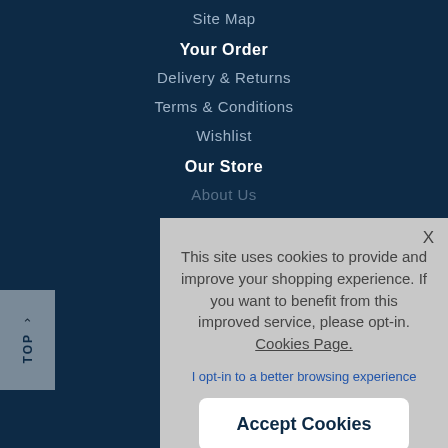Site Map
Your Order
Delivery & Returns
Terms & Conditions
Wishlist
Our Store
About Us (partially visible)
This site uses cookies to provide and improve your shopping experience. If you want to benefit from this improved service, please opt-in. Cookies Page.
I opt-in to a better browsing experience
Accept Cookies